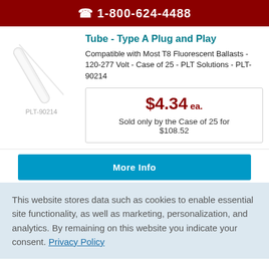1-800-624-4488
Tube - Type A Plug and Play
Compatible with Most T8 Fluorescent Ballasts - 120-277 Volt - Case of 25 - PLT Solutions - PLT-90214
PLT-90214
$4.34 ea.
Sold only by the Case of 25 for $108.52
More Info
This website stores data such as cookies to enable essential site functionality, as well as marketing, personalization, and analytics. By remaining on this website you indicate your consent. Privacy Policy